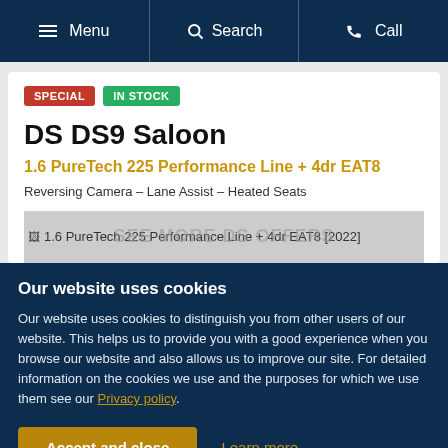Menu | Search | Call
SPECIAL | IN STOCK
DS DS9 Saloon
1.6 PureTech 225 Performance Line + 4dr EAT8
Reversing Camera – Lane Assist – Heated Seats
[Figure (photo): Thumbnail strip showing: 1.6 PureTech 225 Performance Line + 4dr EAT8 [2022] with watermark overlay text]
Our website uses cookies
Our website uses cookies to distinguish you from other users of our website. This helps us to provide you with a good experience when you browse our website and also allows us to improve our site. For detailed information on the cookies we use and the purposes for which we use them see our Privacy policy.
Accept and close | Learn more